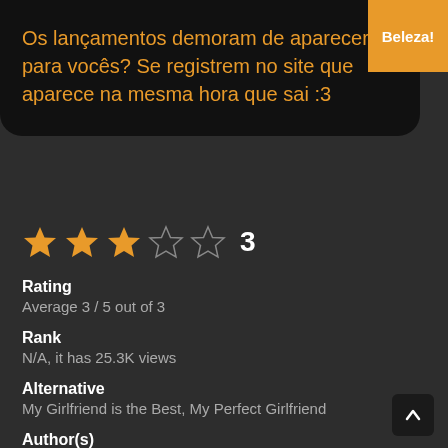Os lançamentos demoram de aparecer para vocês? Se registrem no site que aparece na mesma hora que sai :3
[Figure (other): Star rating display showing 3 out of 5 stars filled in orange, with the number 3 beside them]
Rating
Average 3 / 5 out of 3
Rank
N/A, it has 25.3K views
Alternative
My Girlfriend is the Best, My Perfect Girlfriend
Author(s)
Updating
Artist(s)